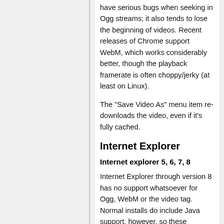have serious bugs when seeking in Ogg streams; it also tends to lose the beginning of videos. Recent releases of Chrome support WebM, which works considerably better, though the playback framerate is often choppy/jerky (at least on Linux).
The "Save Video As" menu item re-downloads the video, even if it's fully cached.
Internet Explorer
Internet explorer 5, 6, 7, 8
Internet Explorer through version 8 has no support whatsoever for Ogg, WebM or the video tag. Normal installs do include Java support, however, so these browsers are able to play Ogg video through the Cortado applet. With